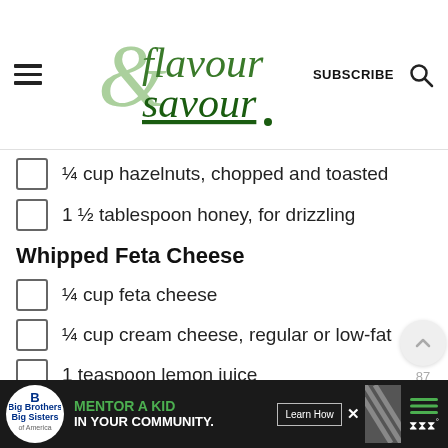Flavour & Savour — SUBSCRIBE
¼ cup hazelnuts, chopped and toasted
1 ½ tablespoon honey, for drizzling
Whipped Feta Cheese
¼ cup feta cheese
¼ cup cream cheese, regular or low-fat
1 teaspoon lemon juice
1 teaspoon lemon zest
1 teaspoon honey
sprigs fresh thyme
[Figure (infographic): Bottom advertisement bar: Big Brothers Big Sisters logo, 'MENTOR A KID IN YOUR COMMUNITY.' ad with Learn How button, diagonal stripe graphic, menu and weather icons]